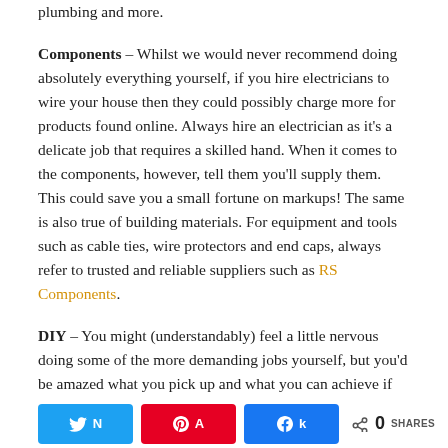plumbing and more.
Components – Whilst we would never recommend doing absolutely everything yourself, if you hire electricians to wire your house then they could possibly charge more for products found online. Always hire an electrician as it's a delicate job that requires a skilled hand. When it comes to the components, however, tell them you'll supply them. This could save you a small fortune on markups! The same is also true of building materials. For equipment and tools such as cable ties, wire protectors and end caps, always refer to trusted and reliable suppliers such as RS Components.
DIY – You might (understandably) feel a little nervous doing some of the more demanding jobs yourself, but you'd be amazed what you pick up and what you can achieve if you set your mind to it. Simple tasks such as installing